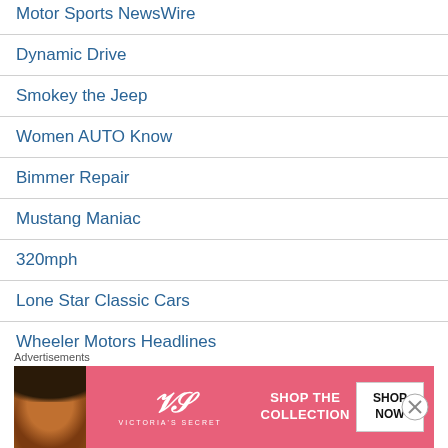Motor Sports NewsWire
Dynamic Drive
Smokey the Jeep
Women AUTO Know
Bimmer Repair
Mustang Maniac
320mph
Lone Star Classic Cars
Wheeler Motors Headlines
Classic Fast
The Best CAR Blog Ever
[Figure (illustration): Victoria's Secret advertisement banner with a woman's face on the left, VS logo in center, 'SHOP THE COLLECTION' text, and a 'SHOP NOW' button on a pink background. Advertisements label above.]